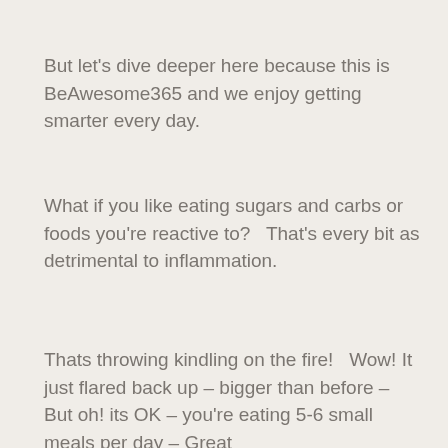But let's dive deeper here because this is BeAwesome365 and we enjoy getting smarter every day.
What if you like eating sugars and carbs or foods you're reactive to?   That's every bit as detrimental to inflammation.
Thats throwing kindling on the fire!   Wow! It just flared back up – bigger than before – But oh! its OK – you're eating 5-6 small meals per day –  Great